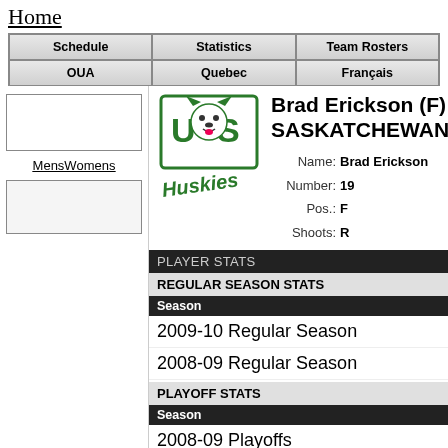Home
| Schedule | Statistics | Team Rosters |
| --- | --- | --- |
| OUA | Quebec | Français |
MensWomens
Brad Erickson (F) SASKATCHEWAN
Name: Brad Erickson  Number: 19  Pos.: F  Shoots: R
PLAYER STATS
REGULAR SEASON STATS
Season
2009-10 Regular Season
2008-09 Regular Season
PLAYOFF STATS
Season
2008-09 Playoffs